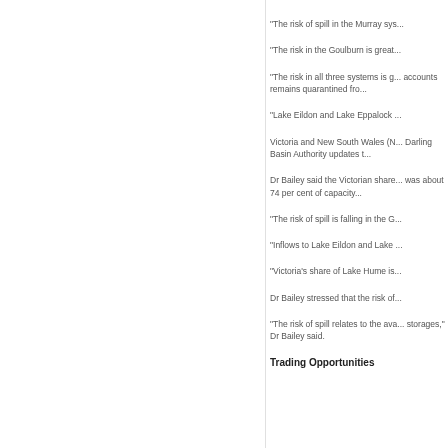"The risk of spill in the Murray sys...
"The risk in the Goulburn is great...
"The risk in all three systems is g... accounts remains quarantined fro...
"Lake Eildon and Lake Eppalock ...
Victoria and New South Wales (N... Darling Basin Authority updates t...
Dr Bailey said the Victorian share... was about 74 per cent of capacity...
"The risk of spill is falling in the G...
"Inflows to Lake Eildon and Lake ...
"Victoria's share of Lake Hume is...
Dr Bailey stressed that the risk of...
"The risk of spill relates to the ava... storages," Dr Bailey said.
Trading Opportunities